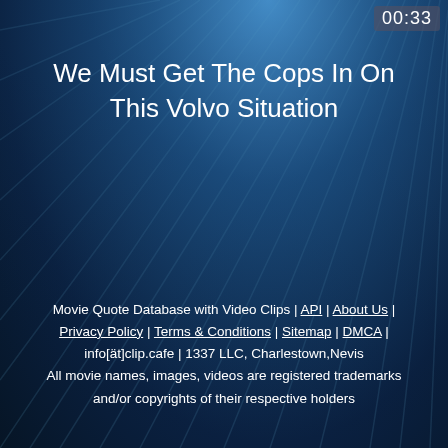00:33
We Must Get The Cops In On This Volvo Situation
Movie Quote Database with Video Clips | API | About Us | Privacy Policy | Terms & Conditions | Sitemap | DMCA | info[ät]clip.cafe | 1337 LLC, Charlestown,Nevis All movie names, images, videos are registered trademarks and/or copyrights of their respective holders